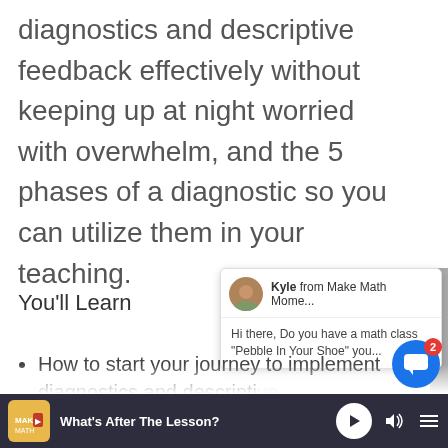diagnostics and descriptive feedback effectively without keeping up at night worried with overwhelm, and the 5 phases of a diagnostic so you can utilize them in your teaching.
[Figure (screenshot): Chat popup widget showing avatar of Kyle from Make Math Mome... with message: Hi there, Do you have a math class "Pebble In Your Shoe" you...]
You'll Learn
How to start your journey to implement diagnostics and descriptive feedback effectively without keep...
What's After The Lesson?